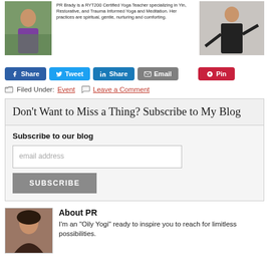[Figure (photo): Photo of woman outdoors in green foliage, left side]
PR Brady is a RYT200 Certified Yoga Teacher specializing in Yin, Restorative, and Trauma Informed Yoga and Meditation. Her practices are spiritual, gentle, nurturing and comforting.
[Figure (photo): Photo of woman doing yoga pose, right side]
Share  Tweet  Share  Email  Pin
Filed Under: Event  Leave a Comment
Don't Want to Miss a Thing? Subscribe to My Blog
Subscribe to our blog
email address
SUBSCRIBE
About PR
[Figure (photo): Headshot of PR Brady with dark hair]
I'm an “Oily Yogi” ready to inspire you to reach for limitless possibilities.